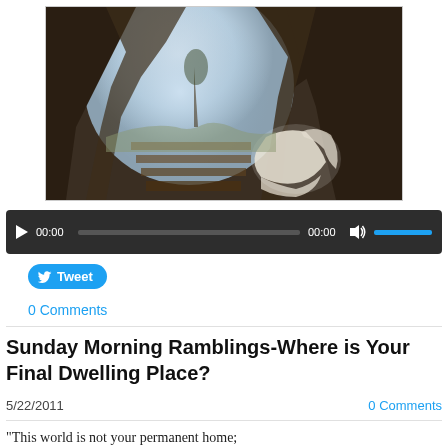[Figure (photo): Interior view of an ancient stone tomb or cave with steps leading to a bright opening, and white linen cloth draped on a ledge to the right.]
[Figure (other): Audio/video player bar with play button, time display 00:00, progress track, time display 00:00, volume icon, and blue volume bar.]
[Figure (other): Twitter Tweet button with bird icon.]
0 Comments
Sunday Morning Ramblings-Where is Your Final Dwelling Place?
5/22/2011
0 Comments
"This world is not your permanent home;